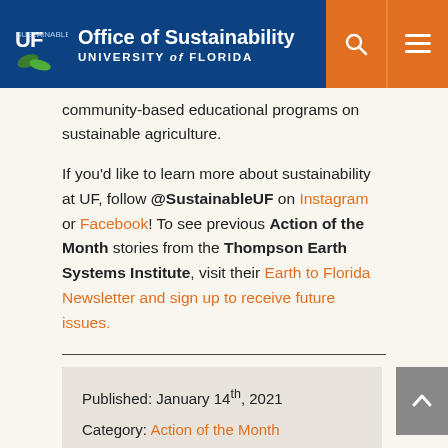Office of Sustainability UNIVERSITY of FLORIDA
community-based educational programs on sustainable agriculture.
If you'd like to learn more about sustainability at UF, follow @SustainableUF on Instagram or Facebook! To see previous Action of the Month stories from the Thompson Earth Systems Institute, visit their Earth to Florida Newsletter and sign up to receive future issues.
Published: January 14th, 2021
Category: Action of the Month